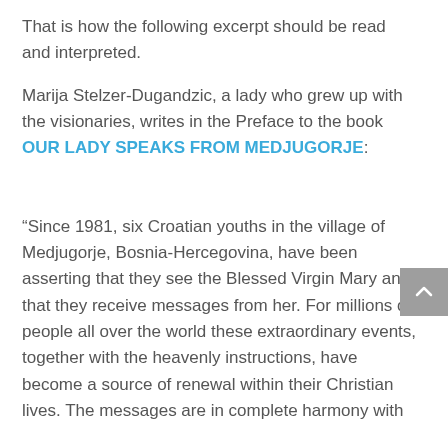That is how the following excerpt should be read and interpreted.
Marija Stelzer-Dugandzic, a lady who grew up with the visionaries, writes in the Preface to the book OUR LADY SPEAKS FROM MEDJUGORJE:
“Since 1981, six Croatian youths in the village of Medjugorje, Bosnia-Hercegovina, have been asserting that they see the Blessed Virgin Mary and that they receive messages from her. For millions of people all over the world these extraordinary events, together with the heavenly instructions, have become a source of renewal within their Christian lives. The messages are in complete harmony with